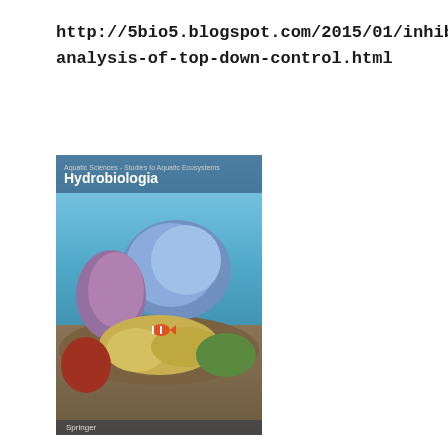http://5bio5.blogspot.com/2015/01/inhibitory-analysis-of-top-down-control.html
[Figure (photo): Book cover of Hydrobiologia journal showing an underwater coral reef scene with fish, corals, and sea anemones. The word 'Hydrobiologia' appears in white text at the top left. Published by Springer.]
Key links:
link.springer.com/article/10.1023%2FA%3A1015559123646 ;
https://plus.google.com/1135/15678323331815a